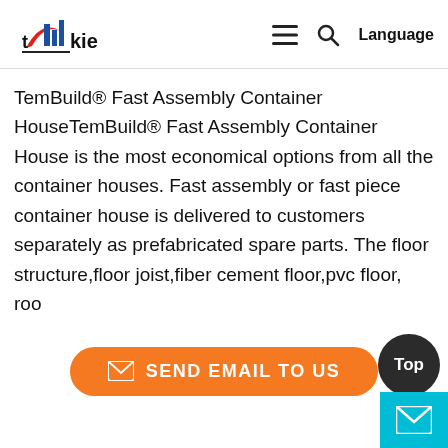TemBuild logo — TemBuild container house manufacturer website header with hamburger menu, search icon, and Language button
TemBuild® Fast Assembly Container HouseTemBuild® Fast Assembly Container House is the most economical options from all the container houses. Fast assembly or fast piece container house is delivered to customers separately as prefabricated spare parts. The floor structure,floor joist,fiber cement floor,pvc floor, roo
[Figure (other): Orange rounded button labeled SEND EMAIL TO US with envelope icon]
[Figure (other): Dark circular Top button in bottom right corner, with a cyan mail badge below it]